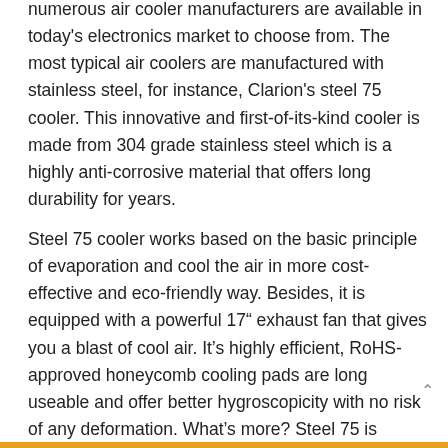numerous air cooler manufacturers are available in today's electronics market to choose from. The most typical air coolers are manufactured with stainless steel, for instance, Clarion's steel 75 cooler. This innovative and first-of-its-kind cooler is made from 304 grade stainless steel which is a highly anti-corrosive material that offers long durability for years.
Steel 75 cooler works based on the basic principle of evaporation and cool the air in more cost-effective and eco-friendly way. Besides, it is equipped with a powerful 17" exhaust fan that gives you a blast of cool air. It's highly efficient, RoHS-approved honeycomb cooling pads are long useable and offer better hygroscopicity with no risk of any deformation. What's more? Steel 75 is loaded with a smart dust cum Mosquito filter which soaks up remainder dust particles and purify air thoroughly. To cool down every corner of your room, steel 75 comes with smart aluminum auto